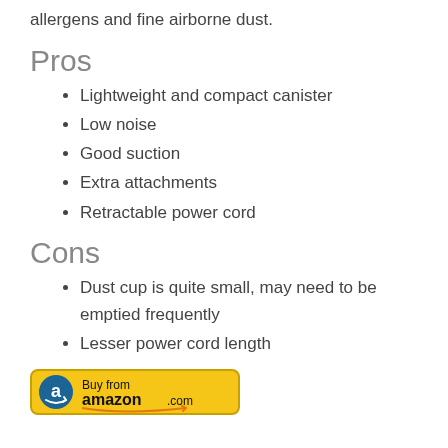allergens and fine airborne dust.
Pros
Lightweight and compact canister
Low noise
Good suction
Extra attachments
Retractable power cord
Cons
Dust cup is quite small, may need to be emptied frequently
Lesser power cord length
[Figure (other): Buy from amazon.com button with Amazon logo]